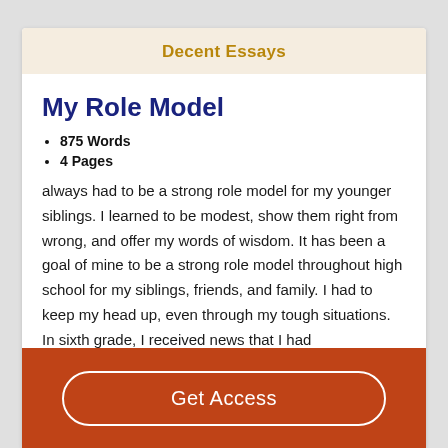Decent Essays
My Role Model
875 Words
4 Pages
always had to be a strong role model for my younger siblings. I learned to be modest, show them right from wrong, and offer my words of wisdom. It has been a goal of mine to be a strong role model throughout high school for my siblings, friends, and family. I had to keep my head up, even through my tough situations. In sixth grade, I received news that I had
Get Access